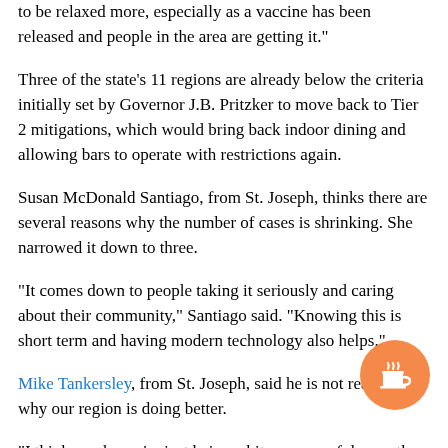to be relaxed more, especially as a vaccine has been released and people in the area are getting it."
Three of the state's 11 regions are already below the criteria initially set by Governor J.B. Pritzker to move back to Tier 2 mitigations, which would bring back indoor dining and allowing bars to operate with restrictions again.
Susan McDonald Santiago, from St. Joseph, thinks there are several reasons why the number of cases is shrinking. She narrowed it down to three.
"It comes down to people taking it seriously and caring about their community," Santiago said. "Knowing this is short term and having modern technology also helps."
Mike Tankersley, from St. Joseph, said he is not really sure why our region is doing better.
"I think maybe we're just being a bit more careful recently, given the dire warnings of what the winter months might bring."
Meanwhile, Abby Schopp, owner of For Love of Hair, people
[Figure (illustration): Orange circular button with a coffee cup icon (Buy Me a Coffee widget)]